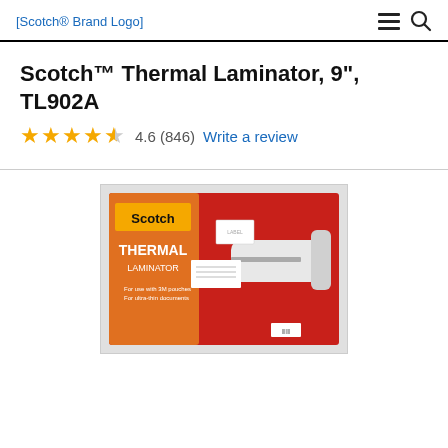Scotch® Brand Logo | hamburger menu | search icon
Scotch™ Thermal Laminator, 9", TL902A
4.6 (846)  Write a review
[Figure (photo): Product box image of Scotch Thermal Laminator with red and orange packaging, showing the laminator device and laminated items on the front of the box.]